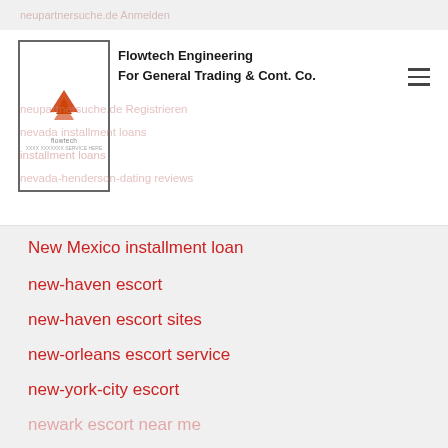neupartnersuche.de Anmelden
[Figure (logo): Flowtech Engineering logo with red arrow icon and company name]
nevada-henderson-dating reviews
New Mexico installment loan
new-haven escort
new-haven escort sites
new-orleans escort service
new-york-city escort
newark escort near me
newport-news escort near me
niszowe-randki randki
no strings attached sito di incontri
no teletrack payday loans
no verification payday loans